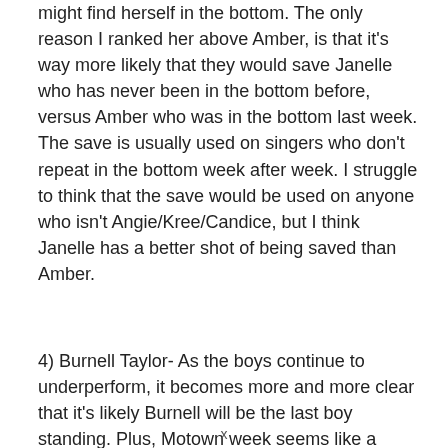might find herself in the bottom. The only reason I ranked her above Amber, is that it's way more likely that they would save Janelle who has never been in the bottom before, versus Amber who was in the bottom last week. The save is usually used on singers who don't repeat in the bottom week after week. I struggle to think that the save would be used on anyone who isn't Angie/Kree/Candice, but I think Janelle has a better shot of being saved than Amber.
4) Burnell Taylor- As the boys continue to underperform, it becomes more and more clear that it's likely Burnell will be the last boy standing. Plus, Motown week seems like a week where Burnell would
x